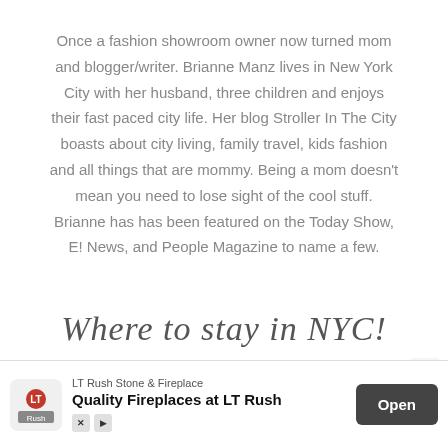Once a fashion showroom owner now turned mom and blogger/writer. Brianne Manz lives in New York City with her husband, three children and enjoys their fast paced city life. Her blog Stroller In The City boasts about city living, family travel, kids fashion and all things that are mommy. Being a mom doesn't mean you need to lose sight of the cool stuff. Brianne has has been featured on the Today Show, E! News, and People Magazine to name a few.
Where to stay in NYC!
[Figure (other): Advertisement bar for LT Rush Stone & Fireplace with logo, headline 'Quality Fireplaces at LT Rush', and an 'Open' button]